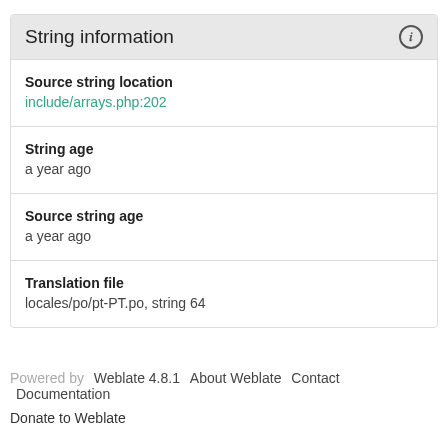String information
Source string location
include/arrays.php:202
String age
a year ago
Source string age
a year ago
Translation file
locales/po/pt-PT.po, string 64
Powered by Weblate 4.8.1   About Weblate   Contact   Documentation
Donate to Weblate